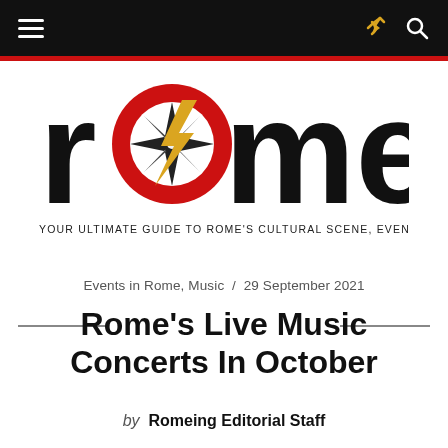romeing — navigation bar with hamburger menu, share icon, and search icon
[Figure (logo): Romeing logo: black bold text 'romeing' with a red circle and compass/lightning bolt icon replacing the letter 'o'. Tagline: YOUR ULTIMATE GUIDE TO ROME'S CULTURAL SCENE, EVENTS AND LIFESTYLE]
Events in Rome, Music  /  29 September 2021
Rome's Live Music Concerts In October
by  Romeing Editorial Staff